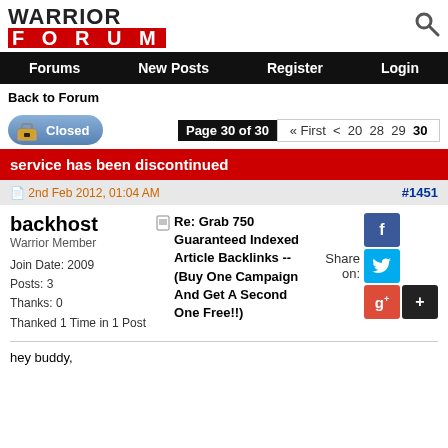Warrior Forum
Forums  New Posts  Register  Login
Back to Forum
Closed  Page 30 of 30  « First  <  20  28  29  30
service has been discontinued
2nd Feb 2012, 01:04 AM  #1451
backhost
Warrior Member

Join Date: 2009
Posts: 3
Thanks: 0
Thanked 1 Time in 1 Post
Re: Grab 750 Guaranteed Indexed Article Backlinks -- (Buy One Campaign And Get A Second One Free!!)
hey buddy,